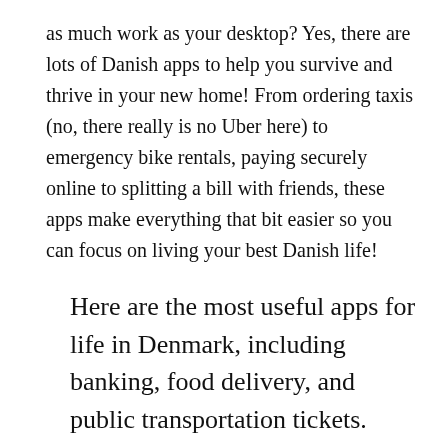as much work as your desktop? Yes, there are lots of Danish apps to help you survive and thrive in your new home! From ordering taxis (no, there really is no Uber here) to emergency bike rentals, paying securely online to splitting a bill with friends, these apps make everything that bit easier so you can focus on living your best Danish life!
Here are the most useful apps for life in Denmark, including banking, food delivery, and public transportation tickets.